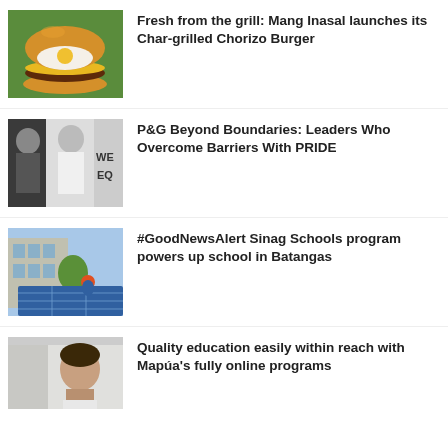[Figure (photo): Photo of a burger with egg and cheese on a bun, placed on green background]
Fresh from the grill: Mang Inasal launches its Char-grilled Chorizo Burger
[Figure (photo): Black and white photo of people at a protest or rally holding signs reading WE and EQ]
P&G Beyond Boundaries: Leaders Who Overcome Barriers With PRIDE
[Figure (photo): Photo of workers installing solar panels on a rooftop]
#GoodNewsAlert Sinag Schools program powers up school in Batangas
[Figure (photo): Photo of a young man looking thoughtful, partial view]
Quality education easily within reach with Mapúa's fully online programs